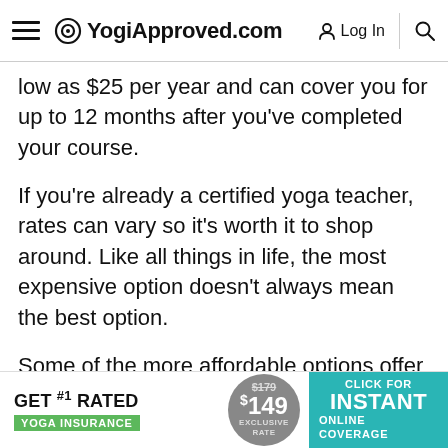YogiApproved.com  Log In
low as $25 per year and can cover you for up to 12 months after you've completed your course.
If you're already a certified yoga teacher, rates can vary so it's worth it to shop around. Like all things in life, the most expensive option doesn't always mean the best option.
Some of the more affordable options offer equal if not better coverage than the more expensive. Professional yoga insurance policies can fall
[Figure (screenshot): Advertisement banner: GET #1 RATED YOGA INSURANCE, $149 EXCLUSIVE RATE (was $179), CLICK FOR INSTANT ONLINE COVERAGE]